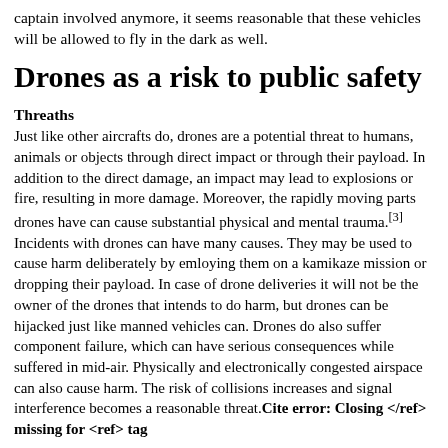captain involved anymore, it seems reasonable that these vehicles will be allowed to fly in the dark as well.
Drones as a risk to public safety
Threaths
Just like other aircrafts do, drones are a potential threat to humans, animals or objects through direct impact or through their payload. In addition to the direct damage, an impact may lead to explosions or fire, resulting in more damage. Moreover, the rapidly moving parts drones have can cause substantial physical and mental trauma.[3] Incidents with drones can have many causes. They may be used to cause harm deliberately by emloying them on a kamikaze mission or dropping their payload. In case of drone deliveries it will not be the owner of the drones that intends to do harm, but drones can be hijacked just like manned vehicles can. Drones do also suffer component failure, which can have serious consequences while suffered in mid-air. Physically and electronically congested airspace can also cause harm. The risk of collisions increases and signal interference becomes a reasonable threat.Cite error: Closing </ref> missing for <ref> tag